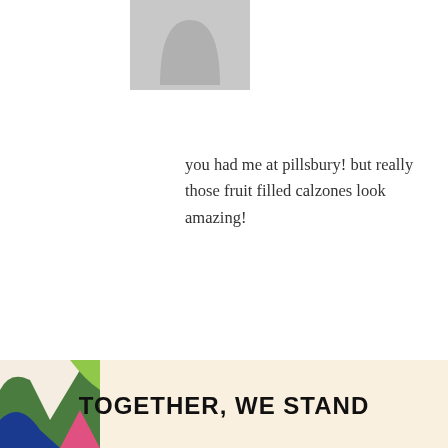[Figure (photo): Gray placeholder avatar silhouette at top of page]
you had me at pillsbury! but really those fruit filled calzones look amazing!
[Figure (photo): Gray placeholder avatar for Mama Harris comment]
MAMA HARRIS SAYS
January 9, 2014 at 7:53 pm
Privacy & Cookies: This site uses cookies. By continuing to use this website, you agree to their use.
To find out more, including how to control cookies, see here: Privacy Policy
[Figure (illustration): Advertisement banner reading TOGETHER WE STAND with colorful graphics]